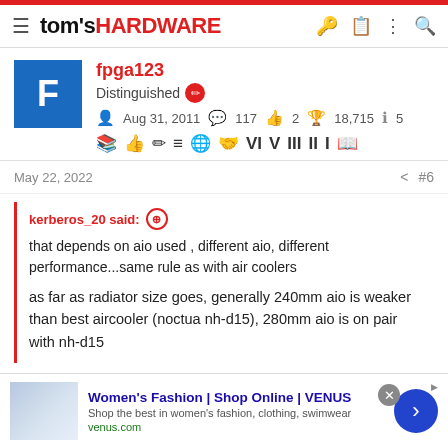tom's HARDWARE
fpga123
Distinguished
Aug 31, 2011  117  2  18,715  5
May 22, 2022  #6
kerberos_20 said:
that depends on aio used , different aio, different performance...same rule as with air coolers

as far as radiator size goes, generally 240mm aio is weaker than best aircooler (noctua nh-d15), 280mm aio is on pair with nh-d15
[Figure (screenshot): Advertisement banner for Women's Fashion at VENUS - Shop Online. Shows thumbnail image, ad title 'Women's Fashion | Shop Online | VENUS', description 'Shop the best in women's fashion, clothing, swimwear', URL 'venus.com', close button and arrow button.]